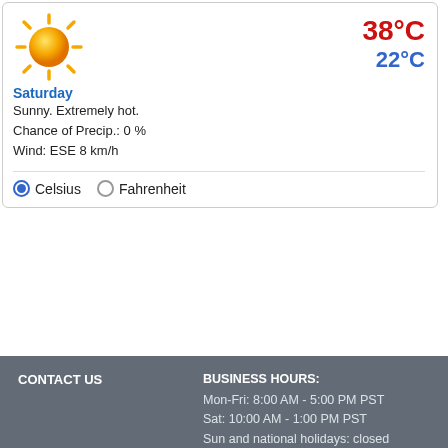[Figure (infographic): Weather widget showing sunny weather icon, 38°C high and 22°C low temperatures]
Saturday
Sunny. Extremely hot.
Chance of Precip.: 0 %
Wind: ESE 8 km/h
● Celsius  ○ Fahrenheit
CONTACT US
BUSINESS HOURS:
Mon-Fri: 8:00 AM - 5:00 PM PST
Sat: 10:00 AM - 1:00 PM PST
Sun and national holidays: closed
FOLLOW US
twitter Follow us on Twitter
CHEAP FLIGHTS TO WORLDWIDE DESTINATIONS
Abu Dhabi Flights, Accra Flights, Addis Ababa Flights, Bangalore Flights, Bangkok Flights, Barcelona Flights, Brisbane Flights, Brussels Flights, Bucharest Flights, Casablanca Flights, Cebu Flights, Chisinau Flights, Salaam Flights, Delhi Flights, Djibouti Flights, Dnipro...